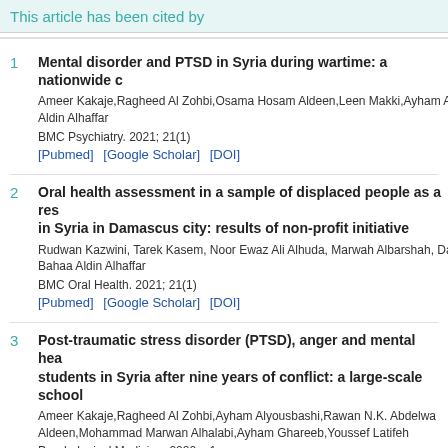This article has been cited by
1. Mental disorder and PTSD in Syria during wartime: a nationwide c... Ameer Kakaje,Ragheed Al Zohbi,Osama Hosam Aldeen,Leen Makki,Ayham Aly... Aldin Alhaffar. BMC Psychiatry. 2021; 21(1). [Pubmed] [Google Scholar] [DOI]
2. Oral health assessment in a sample of displaced people as a res... in Syria in Damascus city: results of non-profit initiative. Rudwan Kazwini, Tarek Kasem, Noor Ewaz Ali Alhuda, Marwah Albarshah, Da... Bahaa Aldin Alhaffar. BMC Oral Health. 2021; 21(1). [Pubmed] [Google Scholar] [DOI]
3. Post-traumatic stress disorder (PTSD), anger and mental hea... students in Syria after nine years of conflict: a large-scale school... Ameer Kakaje,Ragheed Al Zohbi,Ayham Alyousbashi,Rawan N.K. Abdelwa... Aldeen,Mohammad Marwan Alhalabi,Ayham Ghareeb,Youssef Latifeh. Psychological Medicine. 2020; : 1